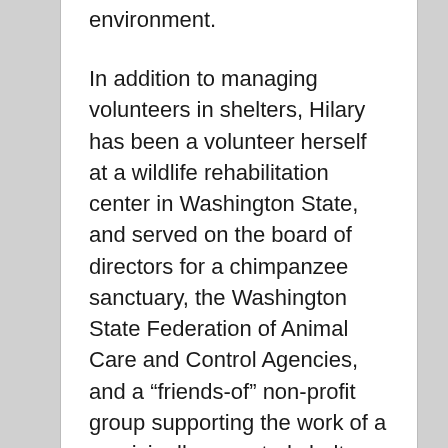environment.
In addition to managing volunteers in shelters, Hilary has been a volunteer herself at a wildlife rehabilitation center in Washington State, and served on the board of directors for a chimpanzee sanctuary, the Washington State Federation of Animal Care and Control Agencies, and a “friends-of” non-profit group supporting the work of a municipally-operated shelter. Hilary holds a master’s degree in Nonprofit Leadership from Seattle University.